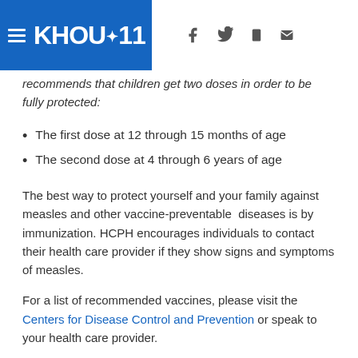KHOU 11 — navigation header with logo and social icons
recommends that children get two doses in order to be fully protected:
The first dose at 12 through 15 months of age
The second dose at 4 through 6 years of age
The best way to protect yourself and your family against measles and other vaccine-preventable diseases is by immunization. HCPH encourages individuals to contact their health care provider if they show signs and symptoms of measles.
For a list of recommended vaccines, please visit the Centers for Disease Control and Prevention or speak to your health care provider.
RELATED: What you need to know about the measles
RELATED: Houston named one of 14 anti-vaccine